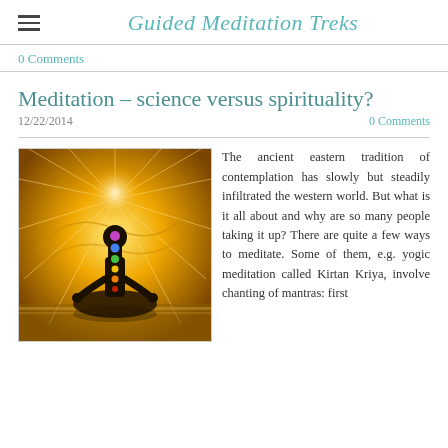Guided Meditation Treks
0 Comments
Meditation – science versus spirituality?
12/22/2014    0 Comments
[Figure (photo): Silhouette of a meditating figure in lotus position with colorful chakra lights along the body spine, surrounded by golden light rays and water reflection]
The ancient eastern tradition of contemplation has slowly but steadily infiltrated the western world. But what is it all about and why are so many people taking it up? There are quite a few ways to meditate. Some of them, e.g. yogic meditation called Kirtan Kriya, involve chanting of mantras: first